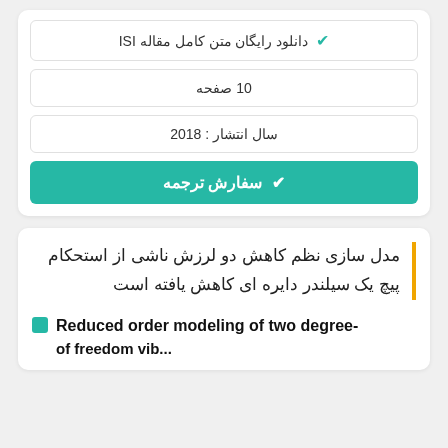✔ دانلود رایگان متن کامل مقاله ISI
10 صفحه
سال انتشار : 2018
✔ سفارش ترجمه
مدل سازی نظم کاهش دو لرزش ناشی از استحکام پیچ یک سیلندر دایره ای کاهش یافته است
Reduced order modeling of two degree-of-freedom vib...